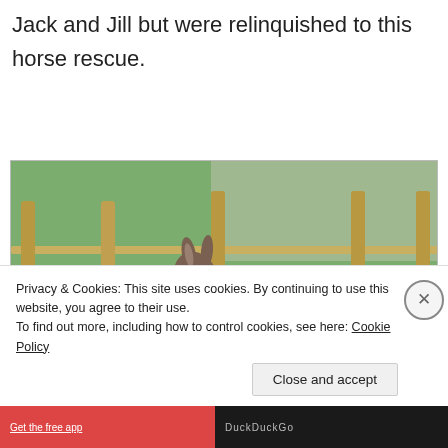Jack and Jill but were relinquished to this horse rescue.
[Figure (photo): Two miniature donkeys standing in a fenced paddock with straw-covered ground. One is darker brown and one is lighter brown/gray with white markings.]
Privacy & Cookies: This site uses cookies. By continuing to use this website, you agree to their use.
To find out more, including how to control cookies, see here: Cookie Policy
Close and accept